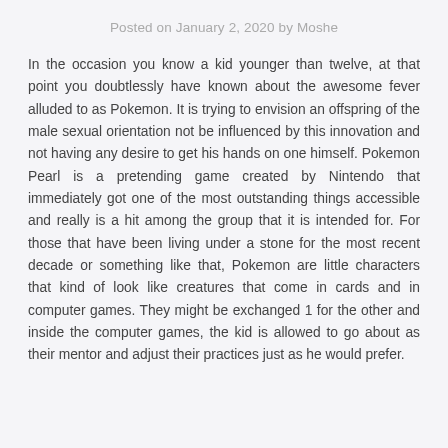Posted on January 2, 2020 by Moshe
In the occasion you know a kid younger than twelve, at that point you doubtlessly have known about the awesome fever alluded to as Pokemon. It is trying to envision an offspring of the male sexual orientation not be influenced by this innovation and not having any desire to get his hands on one himself. Pokemon Pearl is a pretending game created by Nintendo that immediately got one of the most outstanding things accessible and really is a hit among the group that it is intended for. For those that have been living under a stone for the most recent decade or something like that, Pokemon are little characters that kind of look like creatures that come in cards and in computer games. They might be exchanged 1 for the other and inside the computer games, the kid is allowed to go about as their mentor and adjust their practices just as he would prefer.